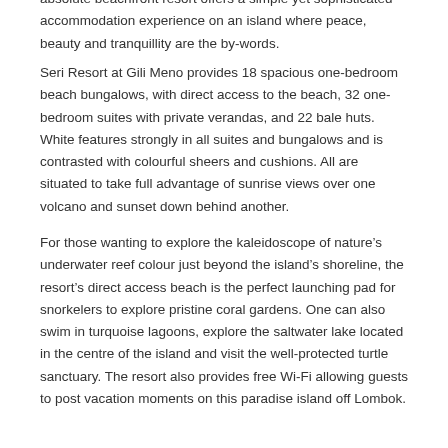absolute beachfront resort offers a simple yet sophisticated accommodation experience on an island where peace, beauty and tranquillity are the by-words.
Seri Resort at Gili Meno provides 18 spacious one-bedroom beach bungalows, with direct access to the beach, 32 one-bedroom suites with private verandas, and 22 bale huts. White features strongly in all suites and bungalows and is contrasted with colourful sheers and cushions. All are situated to take full advantage of sunrise views over one volcano and sunset down behind another.
For those wanting to explore the kaleidoscope of nature’s underwater reef colour just beyond the island’s shoreline, the resort’s direct access beach is the perfect launching pad for snorkelers to explore pristine coral gardens. One can also swim in turquoise lagoons, explore the saltwater lake located in the centre of the island and visit the well-protected turtle sanctuary. The resort also provides free Wi-Fi allowing guests to post vacation moments on this paradise island off Lombok.